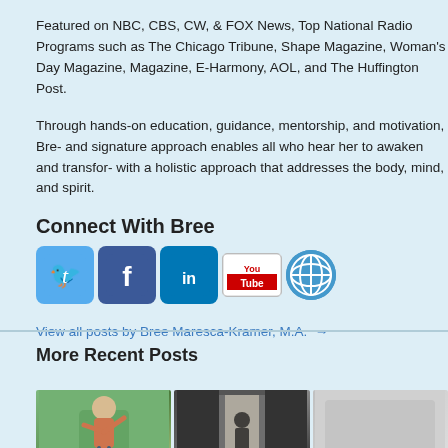Featured on NBC, CBS, CW, & FOX News, Top National Radio Programs such as The Chicago Tribune, Shape Magazine, Woman's Day Magazine, Magazine, E-Harmony, AOL, and The Huffington Post.
Through hands-on education, guidance, mentorship, and motivation, Bree and signature approach enables all who hear her to awaken and transform with a holistic approach that addresses the body, mind, and spirit.
Connect With Bree
[Figure (other): Row of social media icons: Twitter (blue bird), Facebook (blue f), LinkedIn (blue in), YouTube (red/white YouTube logo), and a globe/web icon]
View all posts by Bree Maresca-Kramer, M.A.  →
More Recent Posts
[Figure (photo): Three thumbnail images side by side showing recent blog posts: a woman stretching outdoors, a person in a doorway/window, and a third image]